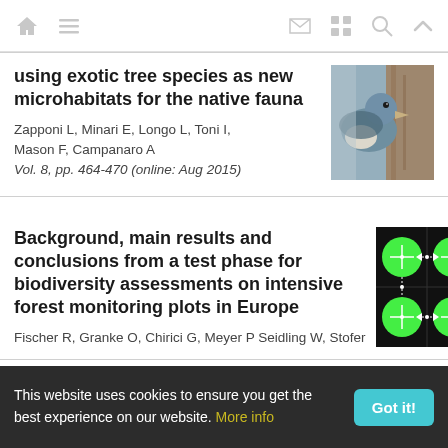Navigation bar with home, menu, email, grid, search, and up icons
using exotic tree species as new microhabitats for the native fauna
Zapponi L, Minari E, Longo L, Toni I, Mason F, Campanaro A
Vol. 8, pp. 464-470 (online: Aug 2015)
[Figure (photo): Photo of a nuthatch bird on tree bark]
Background, main results and conclusions from a test phase for biodiversity assessments on intensive forest monitoring plots in Europe
Fischer R, Granke O, Chirici G, Meyer P, Seidling W, Stofer
[Figure (photo): Black background image with four green circles arranged in a 2x2 grid with white crosshairs and dotted lines connecting them]
This website uses cookies to ensure you get the best experience on our website. More info
Got it!